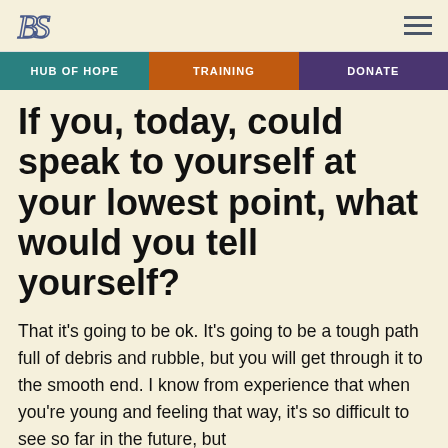[Logo] [Hamburger menu]
If you, today, could speak to yourself at your lowest point, what would you tell yourself?
That it's going to be ok. It's going to be a tough path full of debris and rubble, but you will get through it to the smooth end. I know from experience that when you're young and feeling that way, it's so difficult to see so far in the future, but